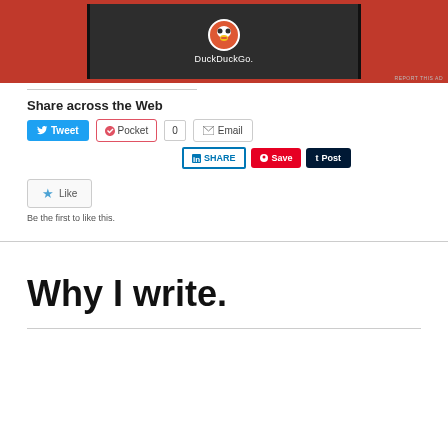[Figure (screenshot): DuckDuckGo advertisement banner with orange background and dark inner panel showing DuckDuckGo logo and text]
Share across the Web
[Figure (infographic): Social sharing buttons: Tweet (Twitter), Pocket with count 0, Email, LinkedIn SHARE, Pinterest Save, Tumblr Post]
[Figure (infographic): Like button with star icon and text 'Be the first to like this.']
Why I write.